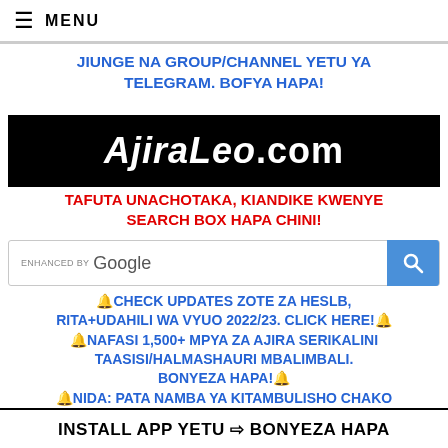≡ MENU
JIUNGE NA GROUP/CHANNEL YETU YA TELEGRAM. BOFYA HAPA!
[Figure (logo): AjiraLeo.com logo on black background]
TAFUTA UNACHOTAKA, KIANDIKE KWENYE SEARCH BOX HAPA CHINI!
[Figure (screenshot): ENHANCED BY Google search box with blue search button]
🔔CHECK UPDATES ZOTE ZA HESLB, RITA+UDAHILI WA VYUO 2022/23. CLICK HERE!🔔 🔔NAFASI 1,500+ MPYA ZA AJIRA SERIKALINI TAASISI/HALMASHAURI MBALIMBALI. BONYEZA HAPA!🔔 🔔NIDA: PATA NAMBA YA KITAMBULISHO CHAKO
INSTALL APP YETU ⇨ BONYEZA HAPA